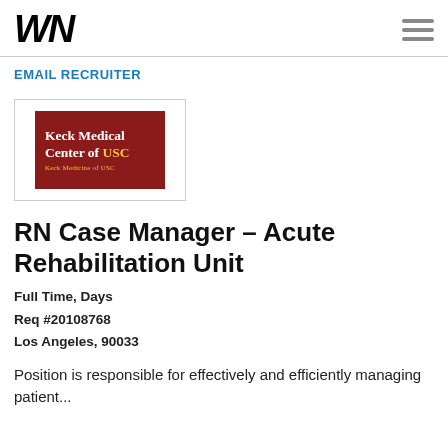WN
EMAIL RECRUITER
[Figure (logo): Keck Medical Center of USC logo — dark red background with white and gold text reading 'Keck Medical Center of USC' and 'Keck Medicine of USC' below in smaller gold text.]
RN Case Manager – Acute Rehabilitation Unit
Full Time, Days
Req #20108768
Los Angeles, 90033
Position is responsible for effectively and efficiently managing patient...